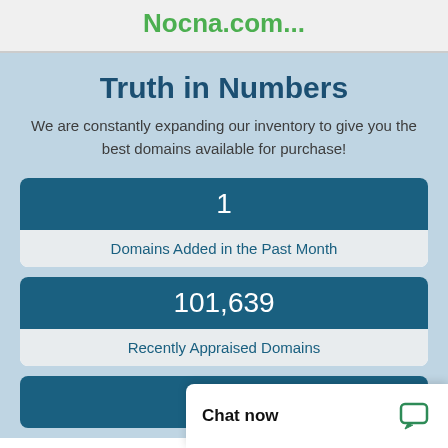Nocna.com...
Truth in Numbers
We are constantly expanding our inventory to give you the best domains available for purchase!
1
Domains Added in the Past Month
101,639
Recently Appraised Domains
Chat now